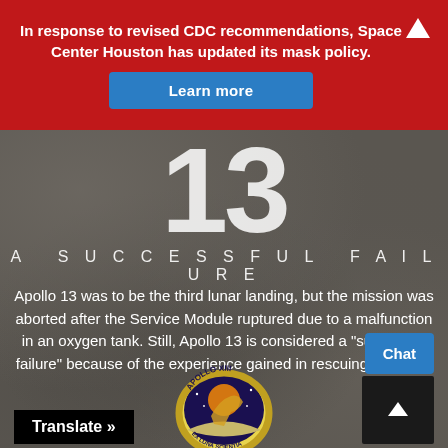In response to revised CDC recommendations, Space Center Houston has updated its mask policy.
Learn more
13
A SUCCESSFUL FAILURE
Apollo 13 was to be the third lunar landing, but the mission was aborted after the Service Module ruptured due to a malfunction in an oxygen tank. Still, Apollo 13 is considered a "successful failure" because of the experience gained in rescuing the crew.
[Figure (logo): Apollo XIII mission patch showing the Greek god of the sun on a horse against a lunar background with text APOLLO XIII and EX LUNA SCIENTIA]
Translate »
Chat